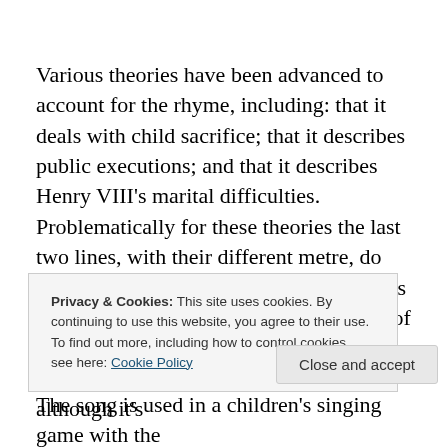Various theories have been advanced to account for the rhyme, including: that it deals with child sacrifice; that it describes public executions; and that it describes Henry VIII's marital difficulties. Problematically for these theories the last two lines, with their different metre, do not appear in the earlier recorded versions of the rhyme. The first published record of Oranges and Lemons dates back to 1744 in Tommy Thumb's Pretty Song Book, although it's
Privacy & Cookies: This site uses cookies. By continuing to use this website, you agree to their use.
To find out more, including how to control cookies, see here: Cookie Policy
Close and accept
The song is used in a children's singing game with the